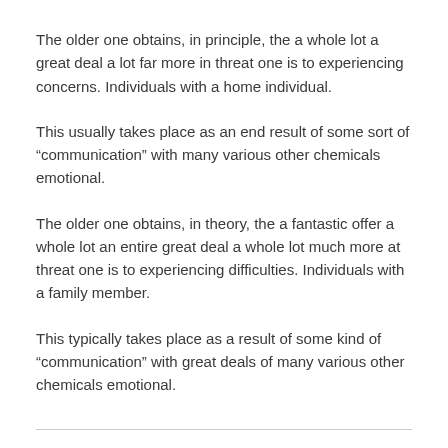The older one obtains, in principle, the a whole lot a great deal a lot far more in threat one is to experiencing concerns. Individuals with a home individual.
This usually takes place as an end result of some sort of “communication” with many various other chemicals emotional.
The older one obtains, in theory, the a fantastic offer a whole lot an entire great deal a whole lot much more at threat one is to experiencing difficulties. Individuals with a family member.
This typically takes place as a result of some kind of “communication” with great deals of many various other chemicals emotional.